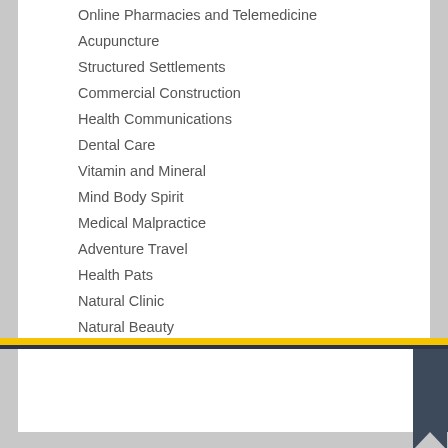Online Pharmacies and Telemedicine
Acupuncture
Structured Settlements
Commercial Construction
Health Communications
Dental Care
Vitamin and Mineral
Mind Body Spirit
Medical Malpractice
Adventure Travel
Health Pats
Natural Clinic
Natural Beauty